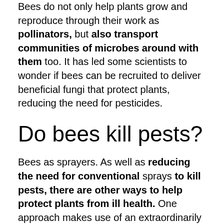Bees do not only help plants grow and reproduce through their work as pollinators, but also transport communities of microbes around with them too. It has led some scientists to wonder if bees can be recruited to deliver beneficial fungi that protect plants, reducing the need for pesticides.
Do bees kill pests?
Bees as sprayers. As well as reducing the need for conventional sprays to kill pests, there are other ways to help protect plants from ill health. One approach makes use of an extraordinarily precise and well-adapted system that can deliver a substance exactly where it is